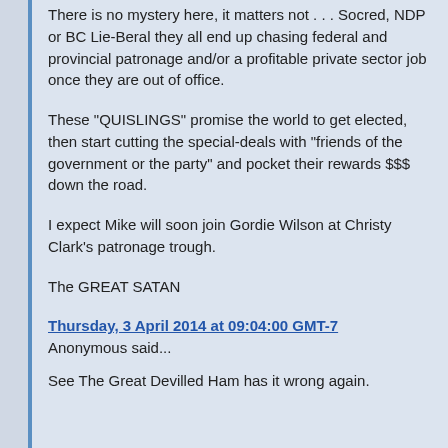There is no mystery here, it matters not . . . Socred, NDP or BC Lie-Beral they all end up chasing federal and provincial patronage and/or a profitable private sector job once they are out of office.
These "QUISLINGS" promise the world to get elected, then start cutting the special-deals with "friends of the government or the party" and pocket their rewards $$$ down the road.
I expect Mike will soon join Gordie Wilson at Christy Clark's patronage trough.
The GREAT SATAN
Thursday, 3 April 2014 at 09:04:00 GMT-7
Anonymous said...
See The Great Devilled Ham has it wrong again.